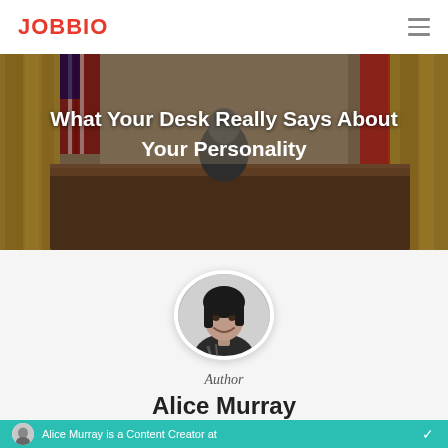JOBBIO
[Figure (photo): Hero image of a person sitting at a large wooden desk in an ornate office with American flags and gold curtains in the background, with white overlay text reading 'What Your Desk Really Says About Your Personality']
What Your Desk Really Says About Your Personality
[Figure (photo): Circular author portrait photo of Alice Murray, a woman with dark hair smiling, shown in black and white]
Author
Alice Murray
Alice Murray is a Content Creator at...